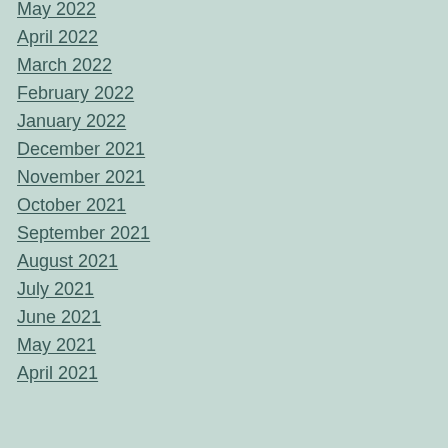May 2022
April 2022
March 2022
February 2022
January 2022
December 2021
November 2021
October 2021
September 2021
August 2021
July 2021
June 2021
May 2021
April 2021